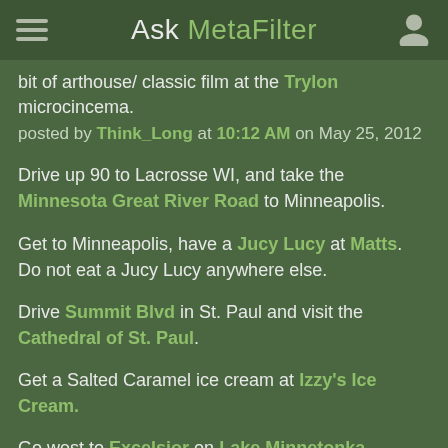Ask MetaFilter
bit of arthouse/ classic film at the Trylon microcincema.
posted by Think_Long at 10:12 AM on May 25, 2012
Drive up 90 to Lacrosse WI, and take the Minnesota Great River Road to Minneapolis.
Get to Minneapolis, have a Jucy Lucy at Matts. Do not eat a Jucy Lucy anywhere else.
Drive Summit Blvd in St. Paul and visit the Cathedral of St. Paul.
Get a Salted Caramel ice cream at Izzy's Ice Cream.
Go west to Excelsior on Lake Minnetonka, walking the